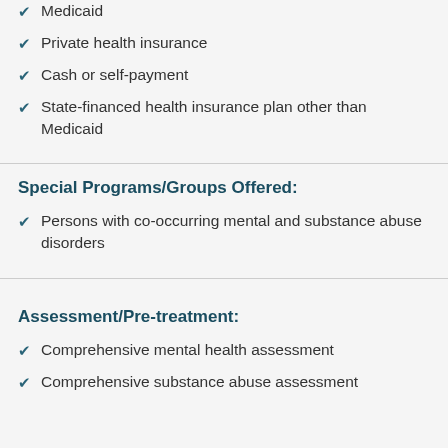Medicaid
Private health insurance
Cash or self-payment
State-financed health insurance plan other than Medicaid
Special Programs/Groups Offered:
Persons with co-occurring mental and substance abuse disorders
Assessment/Pre-treatment:
Comprehensive mental health assessment
Comprehensive substance abuse assessment